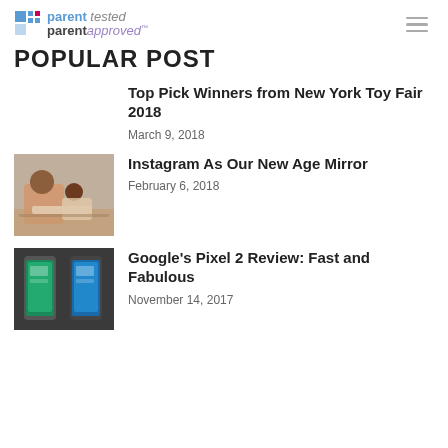parent tested parent approved
POPULAR POST
Top Pick Winners from New York Toy Fair 2018 — March 9, 2018
Instagram As Our New Age Mirror — February 6, 2018
Google's Pixel 2 Review: Fast and Fabulous — November 14, 2017